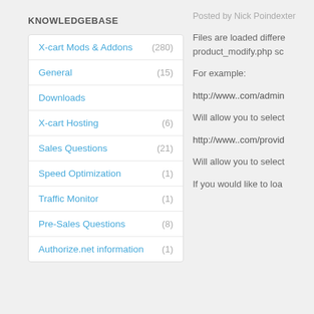KNOWLEDGEBASE
X-cart Mods & Addons (280)
General (15)
Downloads
X-cart Hosting (6)
Sales Questions (21)
Speed Optimization (1)
Traffic Monitor (1)
Pre-Sales Questions (8)
Authorize.net information (1)
Posted by Nick Poindexter
Files are loaded differently in the product_modify.php sc
For example:
http://www..com/admin
Will allow you to select
http://www..com/provid
Will allow you to select
If you would like to loa